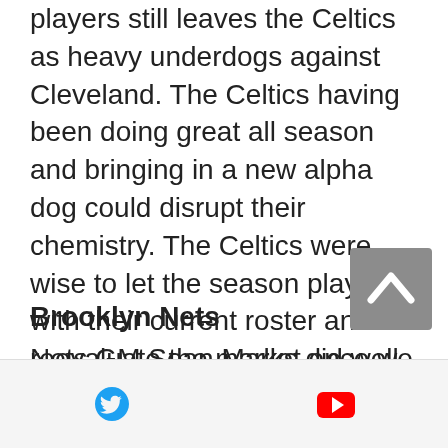players still leaves the Celtics as heavy underdogs against Cleveland. The Celtics having been doing great all season and bringing in a new alpha dog could disrupt their chemistry. The Celtics were wise to let the season play out with their current roster and reevaluate the market once we get to the 2017 NBA draft.
Brooklyn Nets
Nets GM Sean Marks did well this deadline considering what few assets he had to work with. He first traded Bojan Bogdanovic and Chris McCullough to Washington for Andrew Nicholson...
[Figure (other): Scroll-to-top button with upward chevron arrow on grey background]
Twitter icon and YouTube icon in footer bar